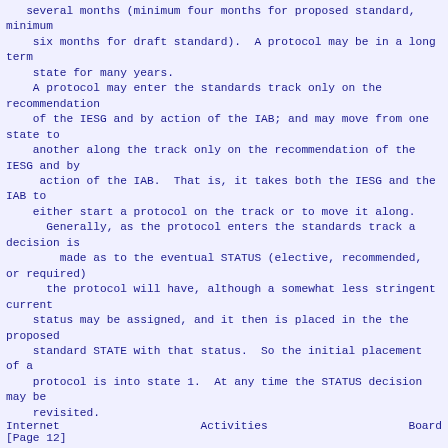several months (minimum four months for proposed standard, minimum
    six months for draft standard).  A protocol may be in a long term
    state for many years.
    A protocol may enter the standards track only on the recommendation
    of the IESG and by action of the IAB; and may move from one state to
    another along the track only on the recommendation of the IESG and by
     action of the IAB.  That is, it takes both the IESG and the IAB to
    either start a protocol on the track or to move it along.
      Generally, as the protocol enters the standards track a decision is
        made as to the eventual STATUS (elective, recommended, or required)
      the protocol will have, although a somewhat less stringent current
    status may be assigned, and it then is placed in the the proposed
    standard STATE with that status.  So the initial placement of a
    protocol is into state 1.  At any time the STATUS decision may be
    revisited.
Internet                    Activities                     Board
[Page 12]